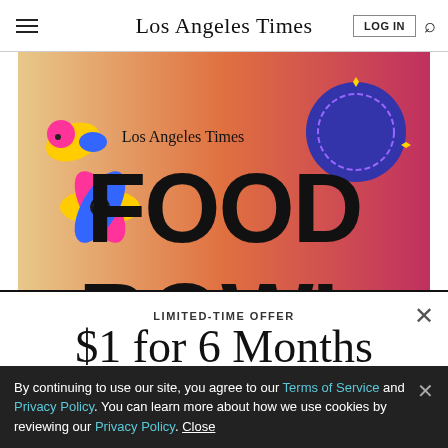Los Angeles Times
[Figure (illustration): Los Angeles Times Food Bowl promotional banner with colorful illustrated food and event branding on a warm gradient background]
LIMITED-TIME OFFER
$1 for 6 Months
SUBSCRIBE NOW
By continuing to use our site, you agree to our Terms of Service and Privacy Policy. You can learn more about how we use cookies by reviewing our Privacy Policy. Close